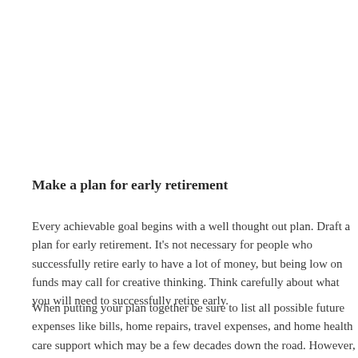Make a plan for early retirement
Every achievable goal begins with a well thought out plan. Drafting a plan for early retirement. It's not necessary for people who successfully retire early to have a lot of money, but being low on funds may call for creative thinking. Think carefully about what you will need to successfully retire early.
When putting your plan together be sure to list all possible future expenses like bills, home repairs, travel expenses, and home health care support which may be a few decades down the road. However, it's important to...